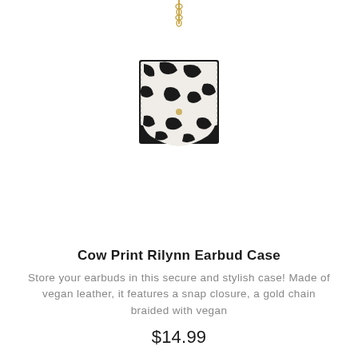[Figure (photo): A small cow print earbud case with black and white pattern, hanging from a gold chain. The case is square-shaped with a snap closure flap.]
Cow Print Rilynn Earbud Case
Store your earbuds in this secure and stylish case! Made of vegan leather, it features a snap closure, a gold chain braided with vegan
$14.99